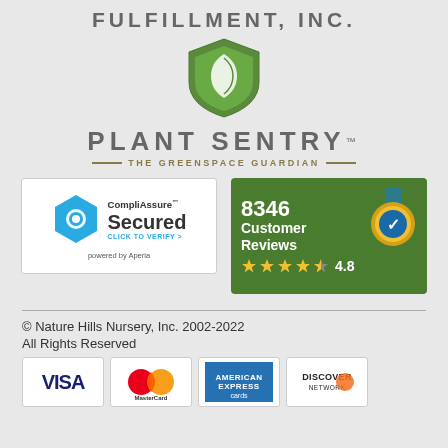FULFILLMENT, INC.
[Figure (logo): Plant Sentry shield logo with green leaf, text PLANT SENTRY TM - THE GREENSPACE GUARDIAN -]
[Figure (logo): CompliAssure Secured badge - click to verify, powered by Aperia]
[Figure (logo): 8346 Customer Reviews badge with 4.8 star rating]
© Nature Hills Nursery, Inc. 2002-2022
All Rights Reserved
[Figure (logo): Payment method logos: VISA, MasterCard, American Express cards, DISCOVER Network]